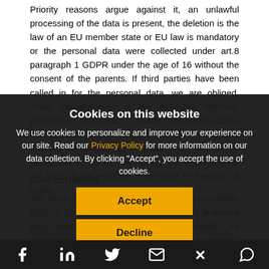Priority reasons argue against it, an unlawful processing of the data is present, the deletion is the law of an EU member state or EU law is mandatory or the personal data were collected under art.8 paragraph 1 GDPR under the age of 16 without the consent of the parents. If third parties have been called in for the personal data, we are obliged, under consideration of the available technical possibilities and costs, to inform third parties about the deletion and to request the deletion of the affected personal data in accordance with art.17 paragraph 1 GDPR. The right of cancellation shall not apply if the exercise of the right to freedom of expression information is not affected. Connexio is required to fulfill its legal obligations. Using the personal data concerned is not possible while others are or data serves to defend exercise claims with personal data.
Data portability
You have the right to receive a machine-readable copy of your personal data from us or to transmit your data to another person responsible for processing and insurance by us, if a consent pursuant to art. 6 (1) GDPR, art. 9 (2) GDPR or art.6 paragraph 1 GDPR is present and the processing is carried out due to...
Cookies on this website
We use cookies to personalize and improve your experience on our site. Read our Privacy Policy for more information on our data collection. By clicking "Accept", you accept the use of cookies.
Accept
Decline
f  in  [Twitter]  [Mail]  [Xing]  [WhatsApp]